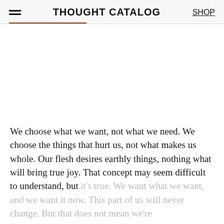THOUGHT CATALOG  SHOP
We choose what we want, not what we need. We choose the things that hurt us, not what makes us whole. Our flesh desires earthly things, nothing what will bring true joy. That concept may seem difficult to understand, but it's true. We want what we want, and we want it now. This part of us will never change. But that does not mean we're